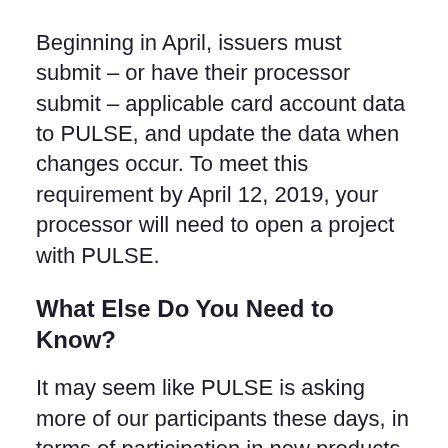Beginning in April, issuers must submit – or have their processor submit – applicable card account data to PULSE, and update the data when changes occur. To meet this requirement by April 12, 2019, your processor will need to open a project with PULSE.
What Else Do You Need to Know?
It may seem like PULSE is asking more of our participants these days, in terms of participation in new products and services. The digitization of commerce has made card payments more